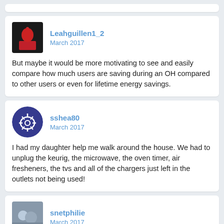Leahguillen1_2
March 2017

But maybe it would be more motivating to see and easily compare how much users are saving during an OH compared to other users or even for lifetime energy savings.
sshea80
March 2017

I had my daughter help me walk around the house. We had to unplug the keurig, the microwave, the oven timer, air fresheners, the tvs and all of the chargers just left in the outlets not being used!
snetphilie
March 2017